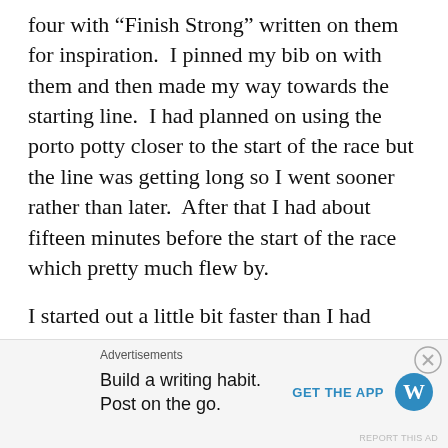four with “Finish Strong” written on them for inspiration.  I pinned my bib on with them and then made my way towards the starting line.  I had planned on using the porto potty closer to the start of the race but the line was getting long so I went sooner rather than later.  After that I had about fifteen minutes before the start of the race which pretty much flew by.
I started out a little bit faster than I had planned but still very reasonable.  I was hanging with a few guys that were running the full marathon but, when I saw how high my heart rate was, I wished them luck and backed it down.  Many people passed me but I knew that, further along, I’d be passing some of them.
Advertisements
Build a writing habit.
Post on the go.
GET THE APP